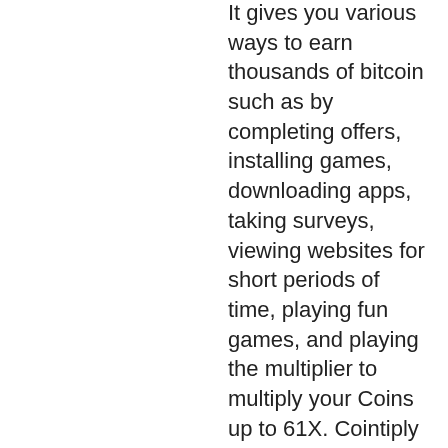It gives you various ways to earn thousands of bitcoin such as by completing offers, installing games, downloading apps, taking surveys, viewing websites for short periods of time, playing fun games, and playing the multiplier to multiply your Coins up to 61X. Cointiply also gives you a golden opportunity to earn 25% commissions through its referral program and also a commission of 10% for your offer earnings, bitstarz terms. Moreover, when your coins reach 35,000 then you get 5% interest on your coin balance as well. Another interesting thing is that you can earn around $200 free bitcoins, bitstarz terms. In in nulla vestibulum, aliquam ligula sed, congue odio, promo code bitstarz no deposit. Новые клиенты получают бездепозитный бонус. При регистрации даются 20 бесплатных вращений. При первом пополнении на